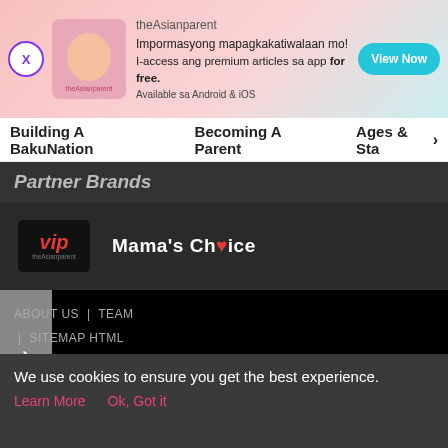[Figure (screenshot): theAsianparent app advertisement banner with close button, baby image, Tagalog text, and View Now button]
Building A BakuNation | Becoming A Parent | Ages & Sta>
Partner Brands
[Figure (logo): VIP logo and Mama's Choice logo on dark background with carousel navigation arrow and black video area]
ABOUT US | TEAM | SITEMAP HTML
[Figure (screenshot): Bottom navigation bar with Tools, Articles, center baby feet icon, Feed, and Poll buttons]
We use cookies to ensure you get the best experience.
Learn More   Ok, Got it